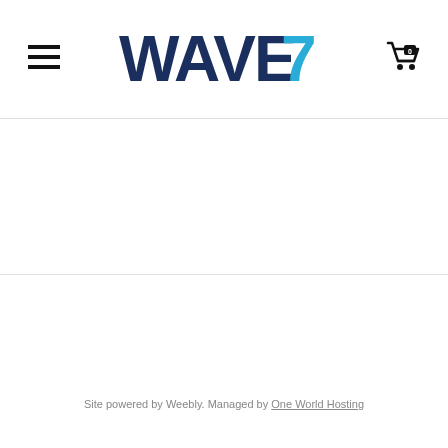WAVE7
Site powered by Weebly. Managed by One World Hosting